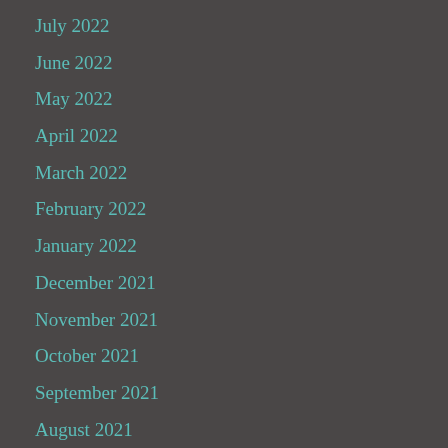July 2022
June 2022
May 2022
April 2022
March 2022
February 2022
January 2022
December 2021
November 2021
October 2021
September 2021
August 2021
July 2021
June 2021